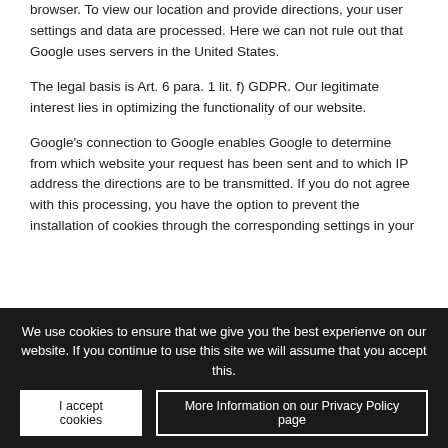browser. To view our location and provide directions, your user settings and data are processed. Here we can not rule out that Google uses servers in the United States.
The legal basis is Art. 6 para. 1 lit. f) GDPR. Our legitimate interest lies in optimizing the functionality of our website.
Google’s connection to Google enables Google to determine from which website your request has been sent and to which IP address the directions are to be transmitted. If you do not agree with this processing, you have the option to prevent the installation of cookies through the corresponding settings in your
We use cookies to ensure that we give you the best experienve on our website. If you continue to use this site we will assume that you accept this.